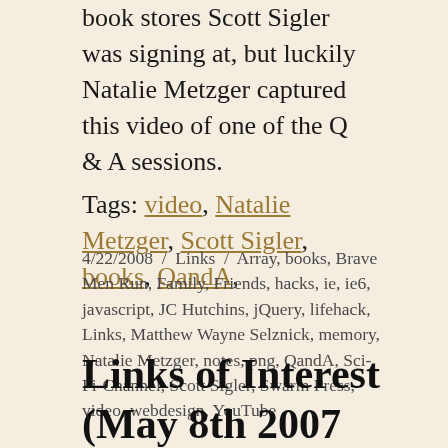book stores Scott Sigler was signing at, but luckily Natalie Metzger captured this video of one of the Q & A sessions.
Tags: video, Natalie Metzger, Scott Sigler, books, QandA,
4/22/2008 / Links / Array, books, Brave Men Run, Family, Friends, hacks, ie, ie6, javascript, JC Hutchins, jQuery, lifehack, Links, Matthew Wayne Selznick, memory, Natalie Metzger, notes, png, QandA, Sci-Fi-Channel, Scott Sigler, Swarm Press, video, webdesign, YouTube
Links of Interest (May 8th 2007 through May 10th 2007)